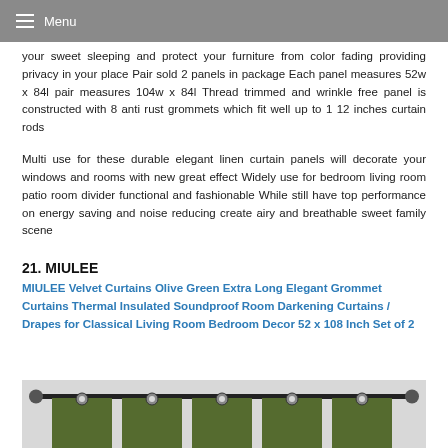Menu
your sweet sleeping and protect your furniture from color fading providing privacy in your place Pair sold 2 panels in package Each panel measures 52w x 84l pair measures 104w x 84l Thread trimmed and wrinkle free panel is constructed with 8 anti rust grommets which fit well up to 1 12 inches curtain rods
Multi use for these durable elegant linen curtain panels will decorate your windows and rooms with new great effect Widely use for bedroom living room patio room divider functional and fashionable While still have top performance on energy saving and noise reducing create airy and breathable sweet family scene
21. MIULEE
MIULEE Velvet Curtains Olive Green Extra Long Elegant Grommet Curtains Thermal Insulated Soundproof Room Darkening Curtains / Drapes for Classical Living Room Bedroom Decor 52 x 108 Inch Set of 2
[Figure (photo): Photo of olive green velvet curtains with grommet top hanging on a black curtain rod against a white background]